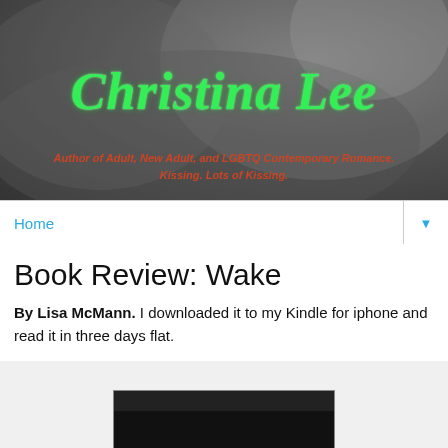[Figure (photo): Header banner with greyscale close-up photo of a shoulder/neck, with stylized green cursive 'Christina Lee' text and orange italic subtitle]
Christina Lee
Author of Adult, New Adult, and LGBTQ Contemporary Romance. Kissing. Lots of Kissing.
Home
Book Review: Wake
By Lisa McMann. I downloaded it to my Kindle for iphone and read it in three days flat.
[Figure (photo): Book cover image partially visible at bottom of page, dark/black]